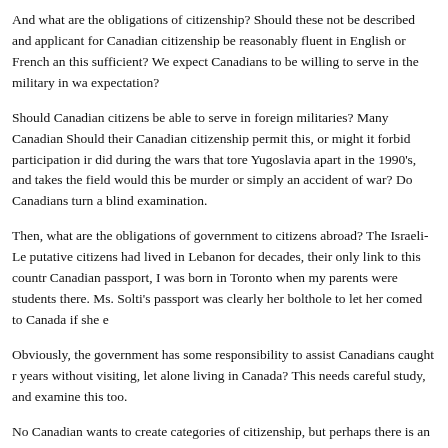And what are the obligations of citizenship? Should these not be described and applicant for Canadian citizenship be reasonably fluent in English or French an this sufficient? We expect Canadians to be willing to serve in the military in wa expectation?
Should Canadian citizens be able to serve in foreign militaries? Many Canadian Should their Canadian citizenship permit this, or might it forbid participation ir did during the wars that tore Yugoslavia apart in the 1990's, and takes the field would this be murder or simply an accident of war? Do Canadians turn a blind examination.
Then, what are the obligations of government to citizens abroad? The Israeli-Le putative citizens had lived in Lebanon for decades, their only link to this countr Canadian passport, I was born in Toronto when my parents were students there. Ms. Solti's passport was clearly her bolthole to let her comed to Canada if she e
Obviously, the government has some responsibility to assist Canadians caught r years without visiting, let alone living in Canada? This needs careful study, and examine this too.
No Canadian wants to create categories of citizenship, but perhaps there is an